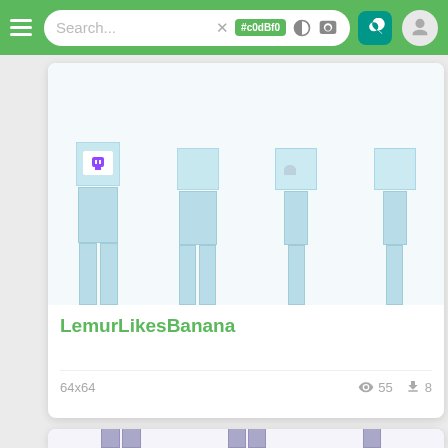[Figure (screenshot): Mobile app screenshot showing a Minecraft skin browser. Green top navigation bar with hamburger menu, search box containing '#c0dBf0' color chip, icons, and user avatar. Two skin cards visible: first card shows light blue Minecraft character skins in multiple poses with a Twitch logo, labeled 'LemurLikesBanana', 64x64 resolution, 55 views, 8 downloads. Second card partially visible showing purple/lavender cat-like Minecraft skins.]
Search... #c0dBf0
LemurLikesBanana
64x64    55    8